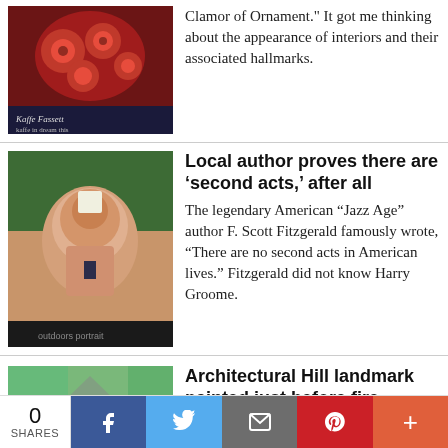[Figure (photo): Book cover with colorful floral pattern, text 'Kaffe Fassett']
Clamor of Ornament.” It got me thinking about the appearance of interiors and their associated hallmarks.
[Figure (photo): Portrait of an older smiling man with white hair outdoors]
Local author proves there are ‘second acts,’ after all
The legendary American “Jazz Age” author F. Scott Fitzgerald famously wrote, “There are no second acts in American lives.” Fitzgerald did not know Harry Groome.
[Figure (illustration): Painting of a historic house with trees, colorful impressionist style]
Architectural Hill landmark painted just before fire
Days before fire ripped through the historic Hiram Lodge on Germantown Avenue last week, local artist Judy McCabe Jarvis had just
0 SHARES  [Facebook] [Twitter] [Email] [Pinterest] [+]